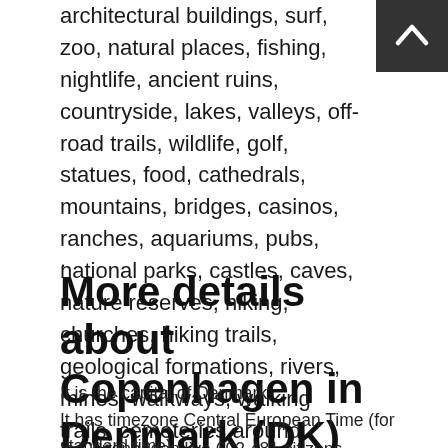architectural buildings, surf, zoo, natural places, fishing, nightlife, ancient ruins, countryside, lakes, valleys, off-road trails, wildlife, golf, statues, food, cathedrals, mountains, bridges, casinos, ranches, aquariums, pubs, national parks, castles, caves, nature reserves, hiking, churches, hiking trails, geological formations, rivers, mines, walkways, walking trails, cemeteries around Denmark.
.
More details about Copenhagen in Denmark (DK)
It is the capital of Denmark.
It has timezone Central European Time (for standard time).
In Copenhagen live 602.481 citizens, considering 2017 last census. Do You are looking to have a call local people. You can use 3 as local dialing code for phone numbers. Copenhagen postal code is 1000, then if you want to send something, keep first code and from Copenhagen